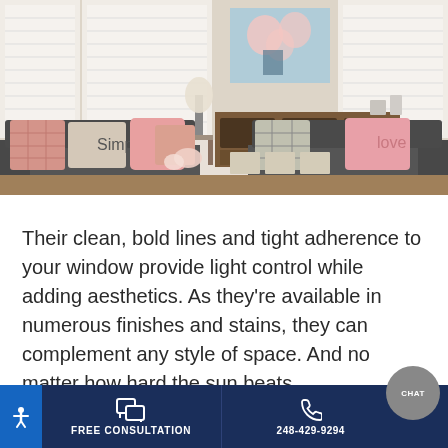[Figure (photo): Interior living room photo showing two dark grey sofas with pink and plaid decorative pillows, white plantation shutters on windows, a wooden console table with decor items, and a floral painting on the wall.]
Their clean, bold lines and tight adherence to your window provide light control while adding aesthetics. As they’re available in numerous finishes and stains, they can complement any style of space. And no matter how hard the sun beats
FREE CONSULTATION | 248-429-9294 | CHAT